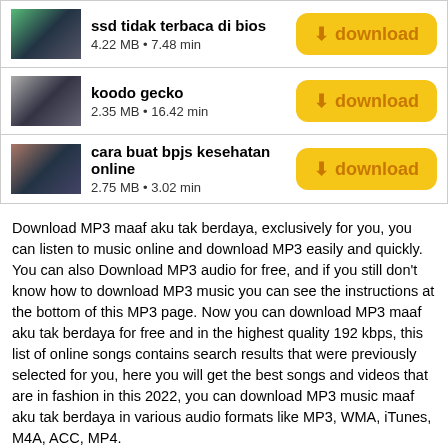ssd tidak terbaca di bios
4.22 MB • 7.48 min
koodo gecko
2.35 MB • 16.42 min
cara buat bpjs kesehatan online
2.75 MB • 3.02 min
Download MP3 maaf aku tak berdaya, exclusively for you, you can listen to music online and download MP3 easily and quickly. You can also Download MP3 audio for free, and if you still don't know how to download MP3 music you can see the instructions at the bottom of this MP3 page. Now you can download MP3 maaf aku tak berdaya for free and in the highest quality 192 kbps, this list of online songs contains search results that were previously selected for you, here you will get the best songs and videos that are in fashion in this 2022, you can download MP3 music maaf aku tak berdaya in various audio formats like MP3, WMA, iTunes, M4A, ACC, MP4.
Last Searched
Zilong collector
Kedamaian saint loco